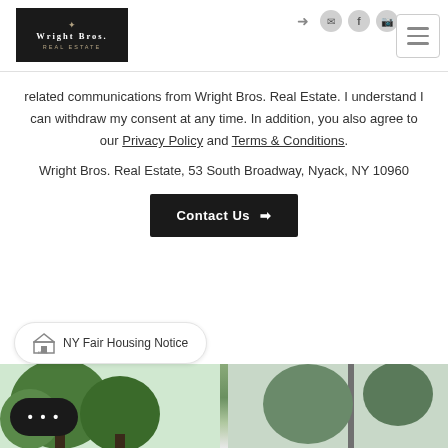[Figure (logo): Wright Bros. Real Estate logo — white text on black background]
related communications from Wright Bros. Real Estate. I understand I can withdraw my consent at any time. In addition, you also agree to our Privacy Policy and Terms & Conditions
Wright Bros. Real Estate, 53 South Broadway, Nyack, NY 10960
Contact Us →
NY Fair Housing Notice
[Figure (photo): Street scene photo with trees at bottom of page]